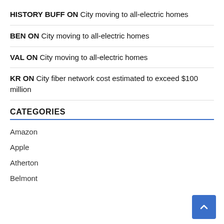HISTORY BUFF ON City moving to all-electric homes
BEN ON City moving to all-electric homes
VAL ON City moving to all-electric homes
KR ON City fiber network cost estimated to exceed $100 million
CATEGORIES
Amazon
Apple
Atherton
Belmont